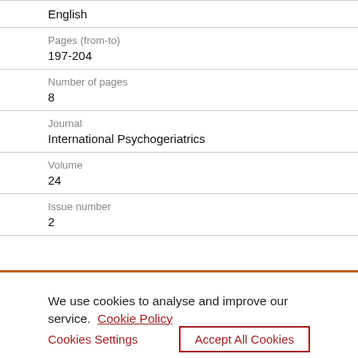English
Pages (from-to)
197-204
Number of pages
8
Journal
International Psychogeriatrics
Volume
24
Issue number
2
We use cookies to analyse and improve our service. Cookie Policy
Cookies Settings
Accept All Cookies